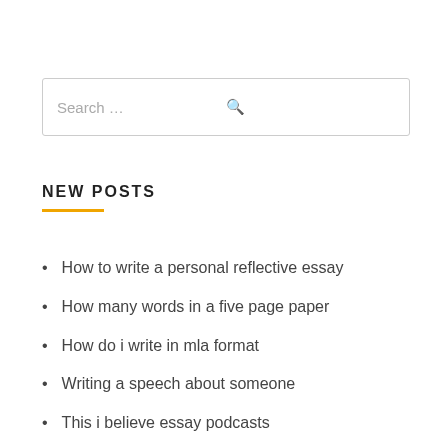Search …
NEW POSTS
How to write a personal reflective essay
How many words in a five page paper
How do i write in mla format
Writing a speech about someone
This i believe essay podcasts